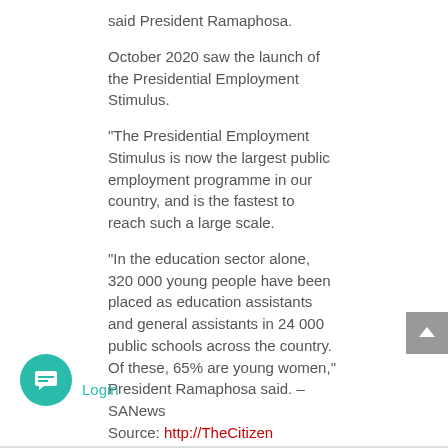said President Ramaphosa.
October 2020 saw the launch of the Presidential Employment Stimulus.
"The Presidential Employment Stimulus is now the largest public employment programme in our country, and is the fastest to reach such a large scale.
“In the education sector alone, 320 000 young people have been placed as education assistants and general assistants in 24 000 public schools across the country. Of these, 65% are young women,” President Ramaphosa said. – SANews
Source: http://TheCitizen
Login